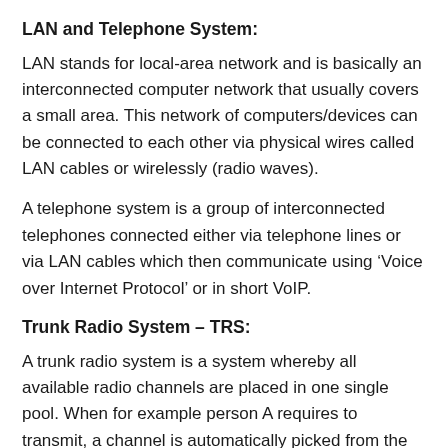LAN and Telephone System:
LAN stands for local-area network and is basically an interconnected computer network that usually covers a small area. This network of computers/devices can be connected to each other via physical wires called LAN cables or wirelessly (radio waves).
A telephone system is a group of interconnected telephones connected either via telephone lines or via LAN cables which then communicate using ‘Voice over Internet Protocol’ or in short VoIP.
Trunk Radio System – TRS:
A trunk radio system is a system whereby all available radio channels are placed in one single pool. When for example person A requires to transmit, a channel is automatically picked from the pool and used for person A’s